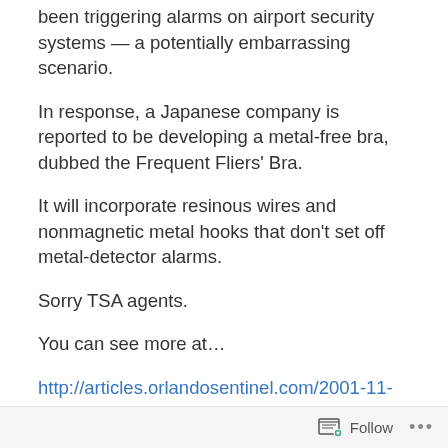been triggering alarms on airport security systems — a potentially embarrassing scenario.
In response, a Japanese company is reported to be developing a metal-free bra, dubbed the Frequent Fliers' Bra.
It will incorporate resinous wires and nonmagnetic metal hooks that don't set off metal-detector alarms.
Sorry TSA agents.
You can see more at…
http://articles.orlandosentinel.com/2001-11-01/lifestyle/0110310437_1_bra-security-alarms-wearer
..
Follow ...